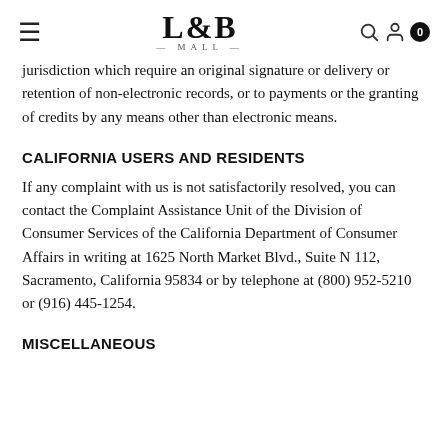L&B MALL
jurisdiction which require an original signature or delivery or retention of non-electronic records, or to payments or the granting of credits by any means other than electronic means.
CALIFORNIA USERS AND RESIDENTS
If any complaint with us is not satisfactorily resolved, you can contact the Complaint Assistance Unit of the Division of Consumer Services of the California Department of Consumer Affairs in writing at 1625 North Market Blvd., Suite N 112, Sacramento, California 95834 or by telephone at (800) 952-5210 or (916) 445-1254.
MISCELLANEOUS